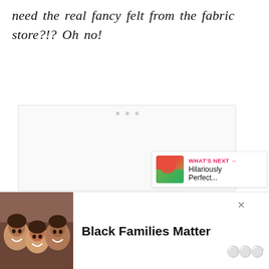need the real fancy felt from the fabric store?!?  Oh no!
[Figure (screenshot): A white/light gray content area placeholder with three small gray dots at top center, representing an embedded video or image player that has not loaded.]
[Figure (infographic): A pink circular heart/like button showing a heart icon. Below it is the number 116. Below that is a light gray circular share button with a share icon.]
[Figure (screenshot): A 'WHAT'S NEXT' promo box in pink text with an arrow, showing a thumbnail image and the text 'Hilariously Perfect...']
[Figure (photo): An advertisement showing a photo of smiling Black family members with the text 'Black Families Matter' in bold and a logo to the right.]